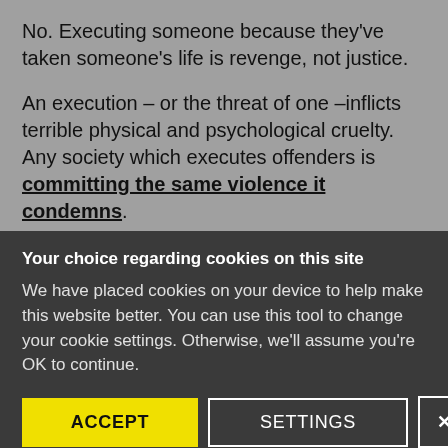No. Executing someone because they've taken someone's life is revenge, not justice.
An execution – or the threat of one –inflicts terrible physical and psychological cruelty. Any society which executes offenders is committing the same violence it condemns.
4. Doesn't the death penalty prevent
Your choice regarding cookies on this site
We have placed cookies on your device to help make this website better. You can use this tool to change your cookie settings. Otherwise, we'll assume you're OK to continue.